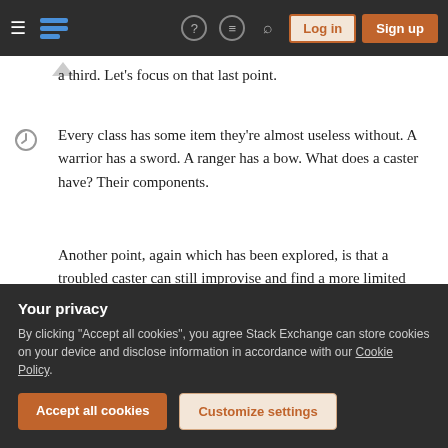Stack Exchange navigation bar with hamburger menu, logo, help, chat, search icons, Log in and Sign up buttons
a third. Let's focus on that last point.
Every class has some item they're almost useless without. A warrior has a sword. A ranger has a bow. What does a caster have? Their components.
Another point, again which has been explored, is that a troubled caster can still improvise and find a more limited selection of materials freely in nature, just as a warrior can find a stick or a ranger can find some rocks.
In other words, cheap components serve three uses:
Your privacy
By clicking "Accept all cookies", you agree Stack Exchange can store cookies on your device and disclose information in accordance with our Cookie Policy.
Accept all cookies
Customize settings